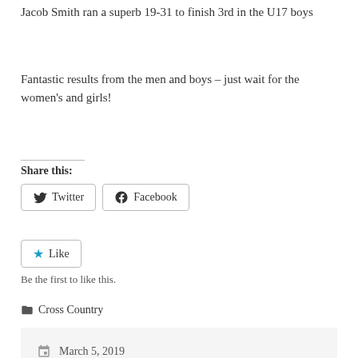Jacob Smith ran a superb 19-31 to finish 3rd in the U17 boys
Fantastic results from the men and boys – just wait for the women's and girls!
Share this:
[Figure (other): Twitter and Facebook share buttons]
[Figure (other): Like button with star icon]
Be the first to like this.
Cross Country
March 5, 2019